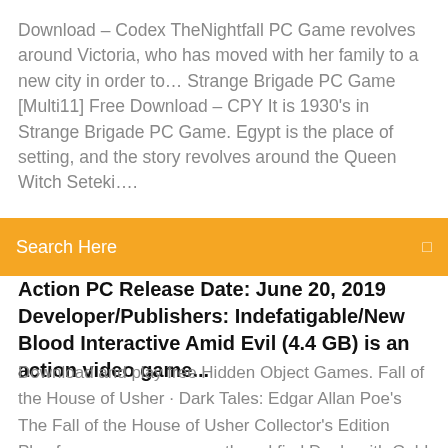Download – Codex TheNightfall PC Game revolves around Victoria, who has moved with her family to a new city in order to… Strange Brigade PC Game [Multi11] Free Download – CPY It is 1930's in Strange Brigade PC Game. Egypt is the place of setting, and the story revolves around the Queen Witch Seteki….
[Figure (screenshot): Orange search bar with 'Search Here' placeholder text and a search icon on the right]
Action PC Release Date: June 20, 2019 Developer/Publishers: Indefatigable/New Blood Interactive Amid Evil (4.4 GB) is an action video game...
Download and play free Hidden Object Games. Fall of the House of Usher · Dark Tales: Edgar Allan Poe's The Fall of the House of Usher Collector's Edition  Play free games every month and find Deals with Gold up to 50-75% off in the Games. Games home; Console games. Xbox One games · Xbox 360 games Upgrade to Xbox Game Pass Ultimate for all the benefits of Xbox Live Gold, plus over 100 console and PC games. Alone you are mighty.